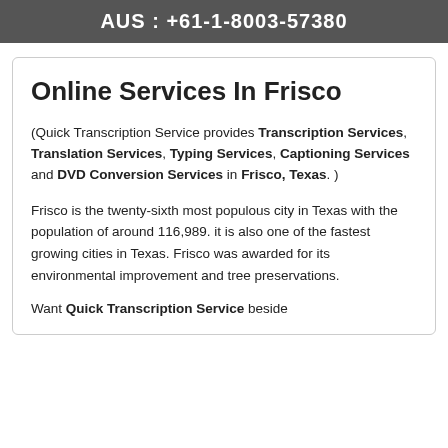AUS : +61-1-8003-57380
Online Services In Frisco
(Quick Transcription Service provides Transcription Services, Translation Services, Typing Services, Captioning Services and DVD Conversion Services in Frisco, Texas. )
Frisco is the twenty-sixth most populous city in Texas with the population of around 116,989. it is also one of the fastest growing cities in Texas. Frisco was awarded for its environmental improvement and tree preservations.
Want Quick Transcription Service beside